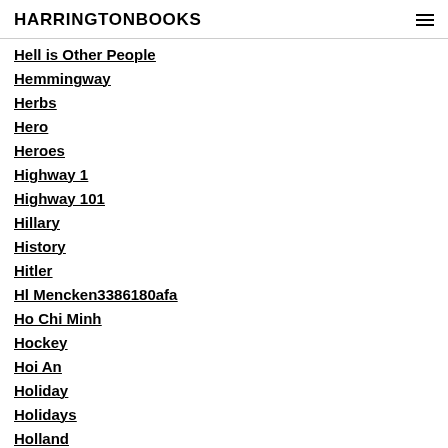HARRINGTONBOOKS
Hell is Other People
Hemmingway
Herbs
Hero
Heroes
Highway 1
Highway 101
Hillary
History
Hitler
Hl Mencken3386180afa
Ho Chi Minh
Hockey
Hoi An
Holiday
Holidays
Holland